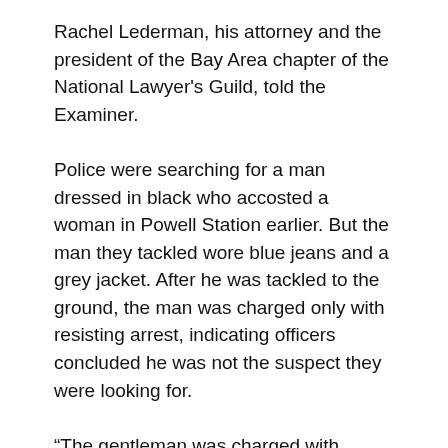Rachel Lederman, his attorney and the president of the Bay Area chapter of the National Lawyer's Guild, told the Examiner.
Police were searching for a man dressed in black who accosted a woman in Powell Station earlier. But the man they tackled wore blue jeans and a grey jacket. After he was tackled to the ground, the man was charged only with resisting arrest, indicating officers concluded he was not the suspect they were looking for.
“The gentleman was charged with [Penal Code] 148, resisting/obstructing an officer while in the performance of their duty,” Jennings told the Guardian. “My detective unit filed the case with the San Francisco District Attorney’s Office and